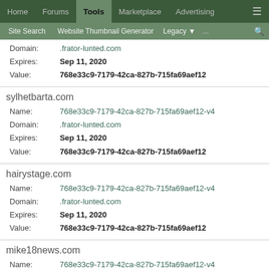Home | Forums | Tools | Marketplace | Advertising
Site Search | Website Thumbnail Generator | Legacy | ... | search
Domain: .frator-lunted.com
Expires: Sep 11, 2020
Value: 768e33c9-7179-42ca-827b-715fa69aef12
sylhetbarta.com
Name: 768e33c9-7179-42ca-827b-715fa69aef12-v4
Domain: .frator-lunted.com
Expires: Sep 11, 2020
Value: 768e33c9-7179-42ca-827b-715fa69aef12
hairystage.com
Name: 768e33c9-7179-42ca-827b-715fa69aef12-v4
Domain: .frator-lunted.com
Expires: Sep 11, 2020
Value: 768e33c9-7179-42ca-827b-715fa69aef12
mike18news.com
Name: 768e33c9-7179-42ca-827b-715fa69aef12-v4
Domain: .frator-lunted.com
Expires: Sep 11, 2020
Value: 768e33c9-7179-42ca-827b-715fa69aef12